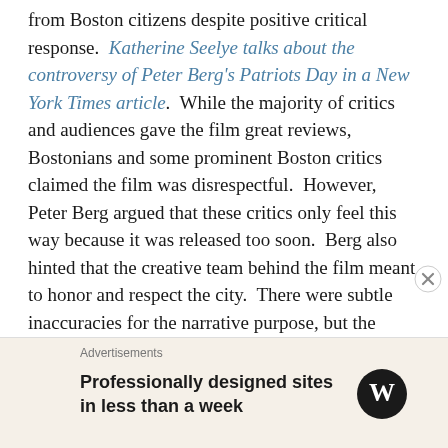from Boston citizens despite positive critical response. Katherine Seelye talks about the controversy of Peter Berg's Patriots Day in a New York Times article. While the majority of critics and audiences gave the film great reviews, Bostonians and some prominent Boston critics claimed the film was disrespectful. However, Peter Berg argued that these critics only feel this way because it was released too soon. Berg also hinted that the creative team behind the film meant to honor and respect the city. There were subtle inaccuracies for the narrative purpose, but the overall theme of recovery was still present throughout. Bostonians don't take it well when they feel misrepresented in Hollywood. They also feel disrespected when Hollywood producers make a film too soon about a tragedy that happened. It's interesting to see that Hollywood feels the need to make films that highlight
Advertisements
Professionally designed sites in less than a week